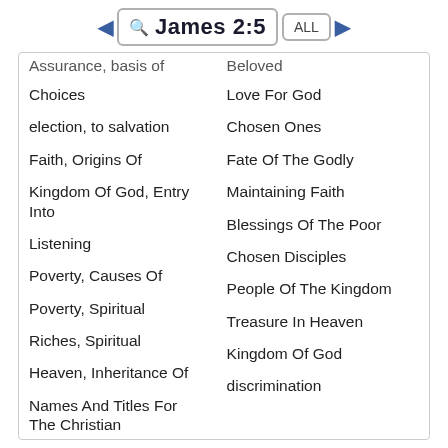James 2:5
Choices
election, to salvation
Faith, Origins Of
Kingdom Of God, Entry Into
Listening
Poverty, Causes Of
Poverty, Spiritual
Riches, Spiritual
Heaven, Inheritance Of
Names And Titles For The Christian
Love For God
Chosen Ones
Fate Of The Godly
Maintaining Faith
Blessings Of The Poor
Chosen Disciples
People Of The Kingdom
Treasure In Heaven
Kingdom Of God
discrimination